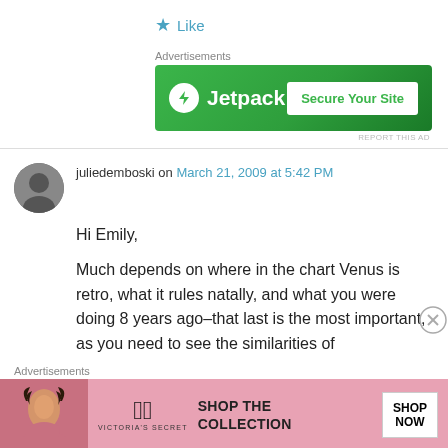★ Like
Advertisements
[Figure (screenshot): Jetpack advertisement banner with green background, Jetpack logo on left and 'Secure Your Site' button on right]
REPORT THIS AD
juliedemboski on March 21, 2009 at 5:42 PM
Hi Emily,

Much depends on where in the chart Venus is retro, what it rules natally, and what you were doing 8 years ago–that last is the most important, as you need to see the similarities of
Advertisements
[Figure (screenshot): Victoria's Secret advertisement with pink background, model photo, VS logo, 'Shop the Collection' text, and 'Shop Now' button]